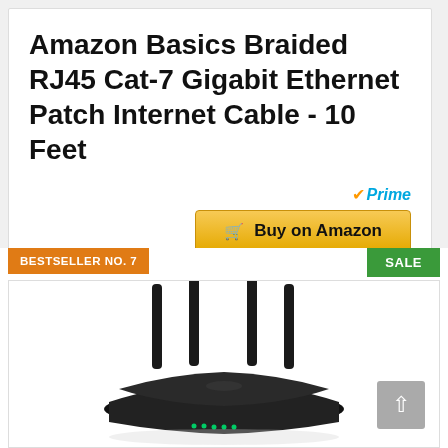Amazon Basics Braided RJ45 Cat-7 Gigabit Ethernet Patch Internet Cable - 10 Feet
[Figure (screenshot): Amazon Prime logo with orange checkmark and blue 'Prime' text]
[Figure (screenshot): Gold 'Buy on Amazon' button with shopping cart icon]
BESTSELLER NO. 7
SALE
[Figure (photo): Black WiFi router with four antennas - TP-Link style device shot on white background]